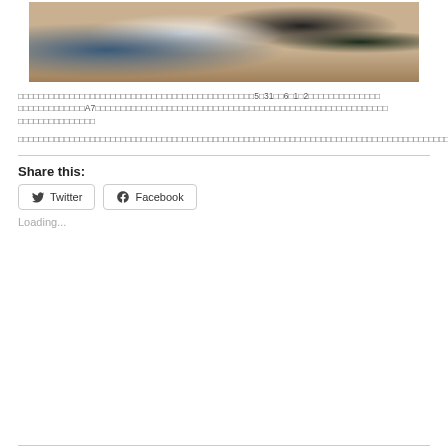[Figure (photo): Photo of people sitting at a restaurant counter/bar, viewed from behind, with food and dishware visible on the counter.]
□□□□□□□□□□□□□□□□□□□□□□□□□□□□□□□□□□□□□□□□□□□□5□31□□6□1□2□□□□□□□□□□□□□□□□□□□□□□□□A7□□□□□□□□□□□□□□□□□□□□□□□□□□□□□□□□□□□□□□□□□□□□□□□□□□□□□□□□□□□□□□□□□□□□□□□□□□□□□□□□□□□□□□□□□□□□□□□□□□□□□□□□□□□□□□□□□□□□□□□□□□□□□□□□□□□□□□□□□□□□□□□□□□□□□□□□□□□□□□□□□□□□□□□□□□
□□□□□□□□□□□□□□□□□□□□□□□□□□□□□□□□□□□□□□□□□□□□□□□□□□□□□□□□□□□□□□□□□□□□□□□□□□□□□□□□□□□□□□□□□□□□□□□□□□□□□□□□□□□□□□□□□□□□□□□□□□□□□□□□□□□□□□□□□□□□□□□□□
Share this:
Twitter
Facebook
Loading...